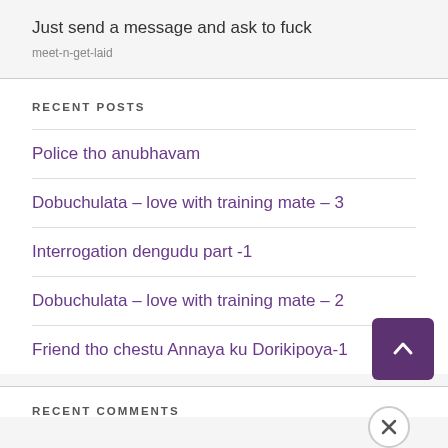Just send a message and ask to fuck
meet-n-get-laid
RECENT POSTS
Police tho anubhavam
Dobuchulata – love with training mate – 3
Interrogation dengudu part -1
Dobuchulata – love with training mate – 2
Friend tho chestu Annaya ku Dorikipoya-1
RECENT COMMENTS